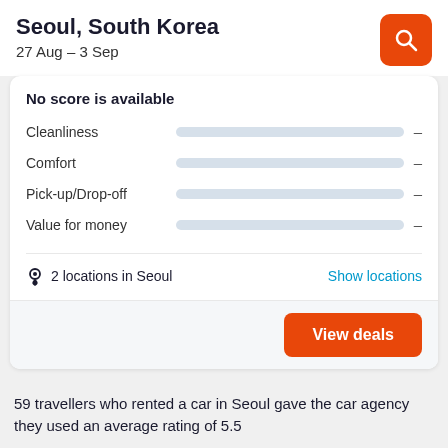Seoul, South Korea
27 Aug – 3 Sep
No score is available
Cleanliness  –
Comfort  –
Pick-up/Drop-off  –
Value for money  –
2 locations in Seoul
Show locations
View deals
59 travellers who rented a car in Seoul gave the car agency they used an average rating of 5.5
Show all 33 car rental agencies